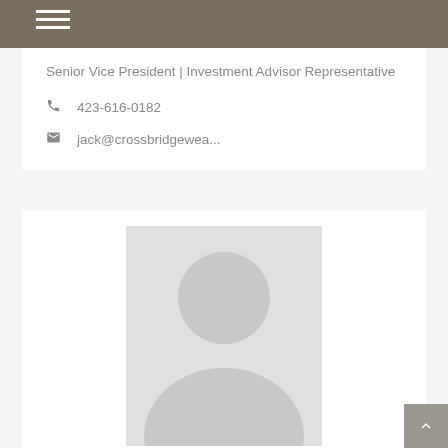Senior Vice President | Investment Advisor Representative
423-616-0182
jack@crossbridgewea...
[Figure (photo): Placeholder profile photo with silhouette of a person on light gray background]